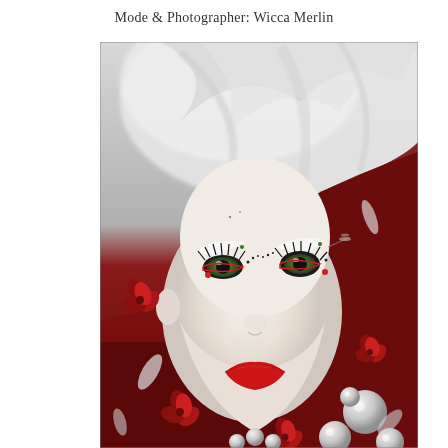Mode & Photographer: Wicca Merlin
[Figure (photo): Digital art / 3D rendered portrait of a stylized bald female figure with green eyes, dramatic black lashes with decorative accents, bright red lips, pale white skin, set against a dramatic background of white swirling fabric at top and deep dark red/maroon at bottom, with red flower ornaments, pearl-like spheres, and scattered petal shapes around the figure.]